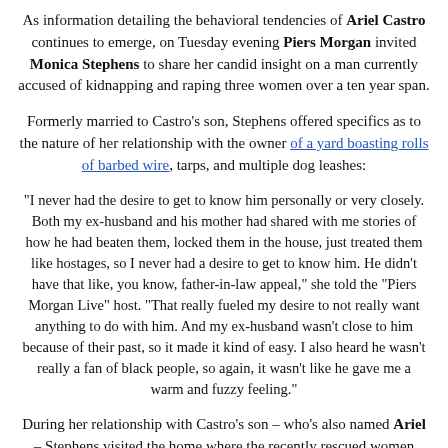As information detailing the behavioral tendencies of Ariel Castro continues to emerge, on Tuesday evening Piers Morgan invited Monica Stephens to share her candid insight on a man currently accused of kidnapping and raping three women over a ten year span.
Formerly married to Castro's son, Stephens offered specifics as to the nature of her relationship with the owner of a yard boasting rolls of barbed wire, tarps, and multiple dog leashes:
"I never had the desire to get to know him personally or very closely. Both my ex-husband and his mother had shared with me stories of how he had beaten them, locked them in the house, just treated them like hostages, so I never had a desire to get to know him. He didn't have that like, you know, father-in-law appeal," she told the "Piers Morgan Live" host. "That really fueled my desire to not really want anything to do with him. And my ex-husband wasn't close to him because of their past, so it made it kind of easy. I also heard he wasn't really a fan of black people, so again, it wasn't like he gave me a warm and fuzzy feeling."
During her relationship with Castro's son – who's also named Ariel – Stephens visited the home where the recently rescued women were being held captive: